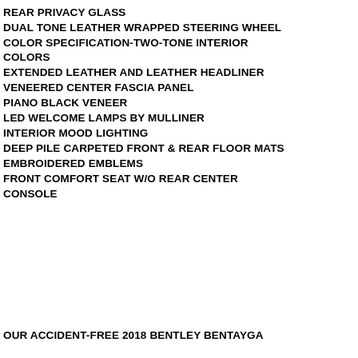REAR PRIVACY GLASS
DUAL TONE LEATHER WRAPPED STEERING WHEEL
COLOR SPECIFICATION-TWO-TONE INTERIOR COLORS
EXTENDED LEATHER AND LEATHER HEADLINER
VENEERED CENTER FASCIA PANEL
PIANO BLACK VENEER
LED WELCOME LAMPS BY MULLINER
INTERIOR MOOD LIGHTING
DEEP PILE CARPETED FRONT & REAR FLOOR MATS
EMBROIDERED EMBLEMS
FRONT COMFORT SEAT W/O REAR CENTER CONSOLE
OUR ACCIDENT-FREE 2018 BENTLEY BENTAYGA